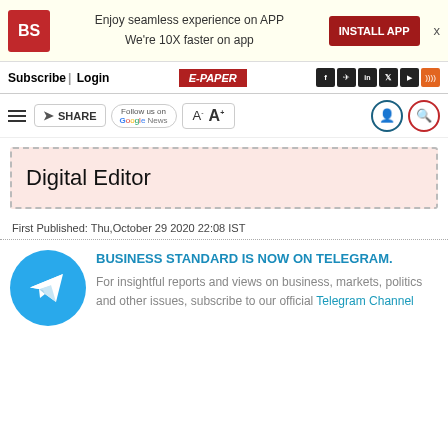BS logo | Enjoy seamless experience on APP We're 10X faster on app | INSTALL APP | X
Subscribe| Login | E-PAPER | Social icons
Menu | SHARE | Follow us on Google News | A- A+ | user icon | search icon
Digital Editor
First Published: Thu,October 29 2020 22:08 IST
BUSINESS STANDARD IS NOW ON TELEGRAM. For insightful reports and views on business, markets, politics and other issues, subscribe to our official Telegram Channel